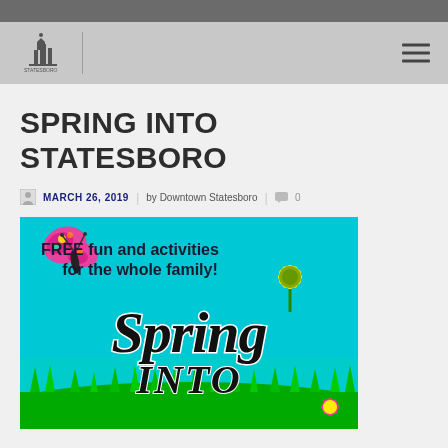Downtown Statesboro website header with logo and navigation menu
SPRING INTO STATESBORO
MARCH 26, 2019 | by Downtown Statesboro | 0
[Figure (illustration): Colorful Spring Into Statesboro event flyer showing a butterfly, flowers, and text: FREE fun and activities for the whole family! Spring Into (with decorative lettering on teal background)]